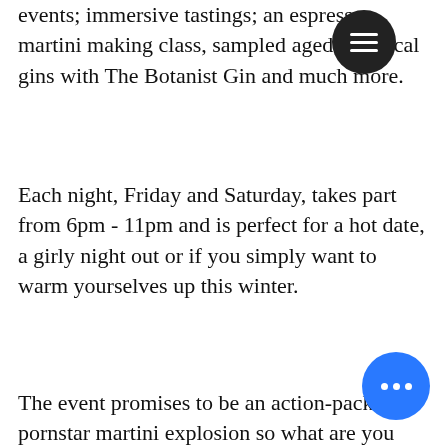events; immersive tastings; an espresso martini making class, sampled aged botanical gins with The Botanist Gin and much more.
Each night, Friday and Saturday, takes part from 6pm - 11pm and is perfect for a hot date, a girly night out or if you simply want to warm yourselves up this winter.
The event promises to be an action-packed pornstar martini explosion so what are you waiting for?
Grab your tickets while you can, get on your glad rags and I'll see you at the bar(s).
Fancy some food and drink?